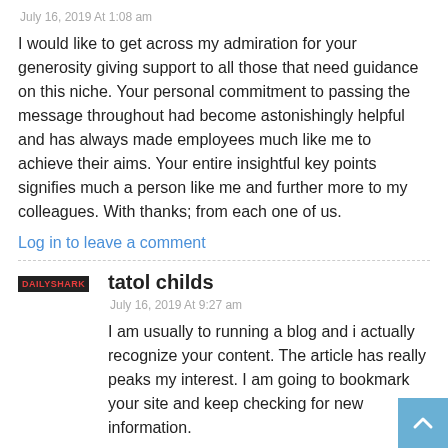July 16, 2019 At 1:08 am
I would like to get across my admiration for your generosity giving support to all those that need guidance on this niche. Your personal commitment to passing the message throughout had become astonishingly helpful and has always made employees much like me to achieve their aims. Your entire insightful key points signifies much a person like me and further more to my colleagues. With thanks; from each one of us.
Log in to leave a comment
tatol childs
July 16, 2019 At 9:27 am
I am usually to running a blog and i actually recognize your content. The article has really peaks my interest. I am going to bookmark your site and keep checking for new information.
Log in to leave a comment